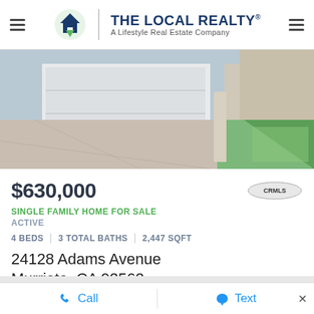The Local Realty® — A Lifestyle Real Estate Company
[Figure (photo): Exterior photo of a single-family home showing a concrete driveway, white garage door, and lawn with green grass]
$630,000
SINGLE FAMILY HOME FOR SALE
ACTIVE
4 BEDS | 3 TOTAL BATHS | 2,447 SQFT
24128 Adams Avenue
Murrieta, CA 92562
Call   Text